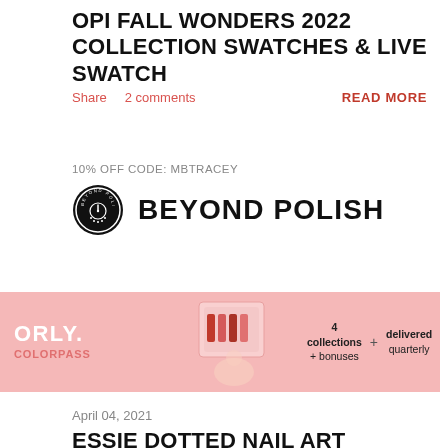OPI FALL WONDERS 2022 COLLECTION SWATCHES & LIVE SWATCH
Share   2 comments                                READ MORE
10% OFF CODE: MBTRACEY
[Figure (logo): Beyond Polish logo with circular badge icon and 'BEYOND POLISH' text in bold uppercase]
[Figure (infographic): ORLY COLORPASS advertisement banner with pink background, product image, text '4 collections + bonuses', 'delivered quarterly', 'ONLY $119', 'JOIN N...']
April 04, 2021
ESSIE DOTTED NAIL ART